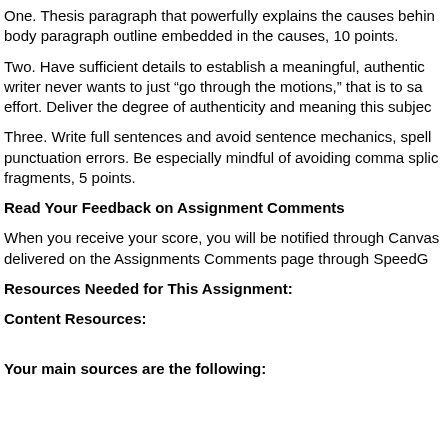One. Thesis paragraph that powerfully explains the causes behind body paragraph outline embedded in the causes, 10 points.
Two. Have sufficient details to establish a meaningful, authentic writer never wants to just “go through the motions,” that is to say effort. Deliver the degree of authenticity and meaning this subject
Three. Write full sentences and avoid sentence mechanics, spelling punctuation errors. Be especially mindful of avoiding comma splices fragments, 5 points.
Read Your Feedback on Assignment Comments
When you receive your score, you will be notified through Canvas delivered on the Assignments Comments page through SpeedG
Resources Needed for This Assignment:
Content Resources:
Your main sources are the following: